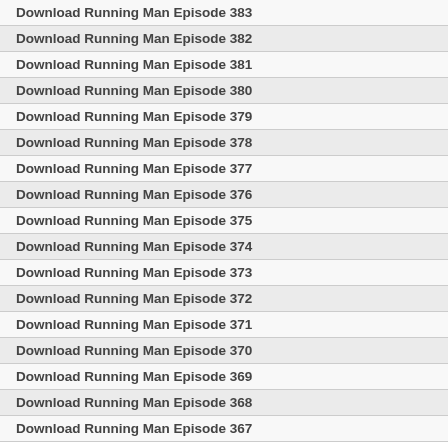Download Running Man Episode 383
Download Running Man Episode 382
Download Running Man Episode 381
Download Running Man Episode 380
Download Running Man Episode 379
Download Running Man Episode 378
Download Running Man Episode 377
Download Running Man Episode 376
Download Running Man Episode 375
Download Running Man Episode 374
Download Running Man Episode 373
Download Running Man Episode 372
Download Running Man Episode 371
Download Running Man Episode 370
Download Running Man Episode 369
Download Running Man Episode 368
Download Running Man Episode 367